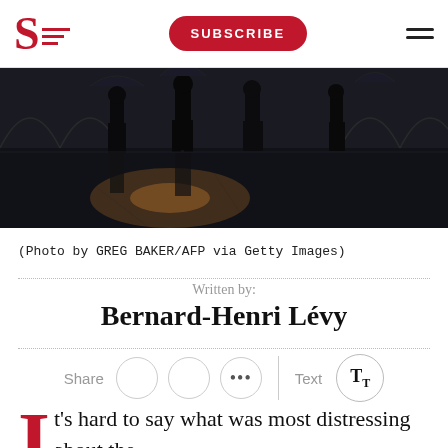S [logo] SUBSCRIBE [menu]
[Figure (photo): Dark silhouettes of people walking, reflected on a shiny floor, with dramatic low lighting creating a moody, shadowy atmosphere.]
(Photo by GREG BAKER/AFP via Getty Images)
Written by:
Bernard-Henri Lévy
Share  •••  Text TT
It's hard to say what was most distressing about the opening of the Beijing Winter Olympics...